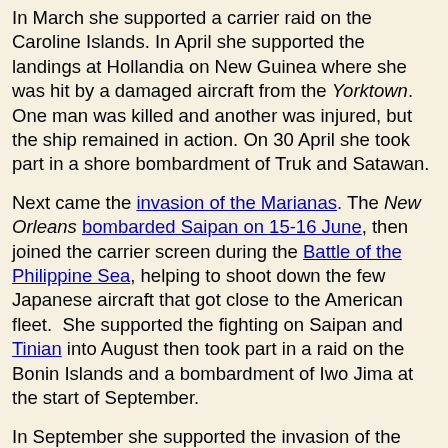In March she supported a carrier raid on the Caroline Islands. In April she supported the landings at Hollandia on New Guinea where she was hit by a damaged aircraft from the Yorktown. One man was killed and another was injured, but the ship remained in action. On 30 April she took part in a shore bombardment of Truk and Satawan.

Next came the invasion of the Marianas. The New Orleans bombarded Saipan on 15-16 June, then joined the carrier screen during the Battle of the Philippine Sea, helping to shoot down the few Japanese aircraft that got close to the American fleet. She supported the fighting on Saipan and Tinian into August then took part in a raid on the Bonin Islands and a bombardment of Iwo Jima at the start of September.

In September she supported the invasion of the Palau Islands. She then escorted the carriers as they raided Okinawa, Forosa and Luzon, inflicting very heavy damage on the Japanese air forces near the Philippines. The Japanese responded to the American invasion of Leyte with a massive naval attack, but their last great effort ended in defeat at the Battle of Leyte Gulf. The New Orleans spent most of the battle protecting the carriers, but also took part in the sinking of the Japanese carrier Chiyoda and the